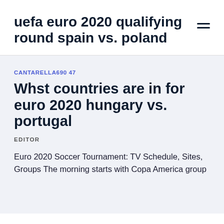uefa euro 2020 qualifying round spain vs. poland
CANTARELLA690 47
Whst countries are in for euro 2020 hungary vs. portugal
EDITOR
Euro 2020 Soccer Tournament: TV Schedule, Sites, Groups The morning starts with Copa America group